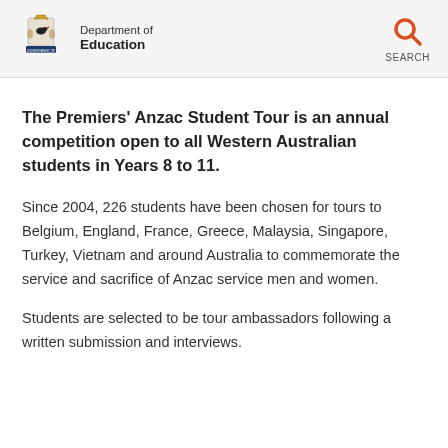Department of Education — Government of Western Australia | SEARCH
The Premiers' Anzac Student Tour is an annual competition open to all Western Australian students in Years 8 to 11.
Since 2004, 226 students have been chosen for tours to Belgium, England, France, Greece, Malaysia, Singapore, Turkey, Vietnam and around Australia to commemorate the service and sacrifice of Anzac service men and women.
Students are selected to be tour ambassadors following a written submission and interviews.